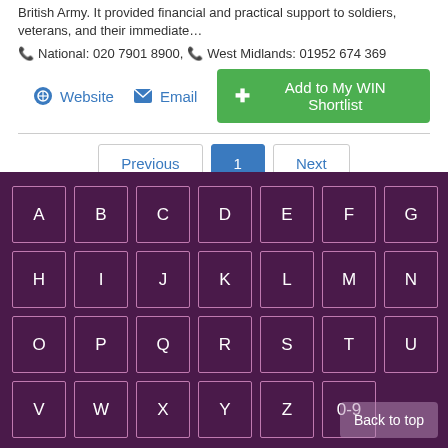British Army. It provided financial and practical support to soldiers, veterans, and their immediate…
National: 020 7901 8900, West Midlands: 01952 674 369
Website  Email  Add to My WIN Shortlist
Previous  1  Next
[Figure (other): Alphabetical letter navigation keyboard on dark purple background with letters A-Z and 0-9, plus Back to top button]